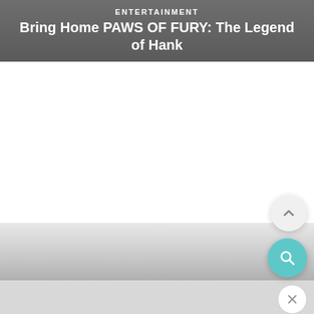ENTERTAINMENT
Bring Home PAWS OF FURY: The Legend of Hank
[Figure (screenshot): White empty content area below the header banner, with a gradient gray box near the bottom of the page representing a partially loaded or scrolled content section. Two circular UI buttons are visible on the right: a scroll-up button with a chevron arrow, and a teal search button with a magnifying glass icon. A close (X) button appears at the bottom right.]